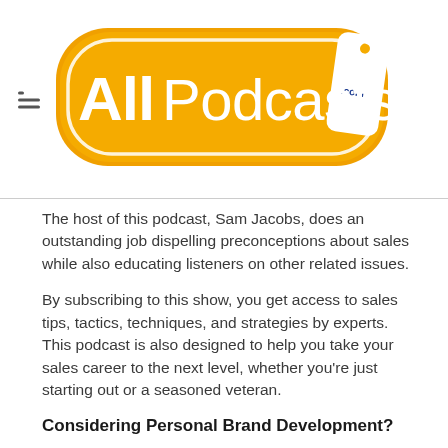[Figure (logo): AllPodcasts.com logo — orange rounded rectangle with white bold text 'AllPodcasts' and a white tag icon with '.com' in blue]
The host of this podcast, Sam Jacobs, does an outstanding job dispelling preconceptions about sales while also educating listeners on other related issues.
By subscribing to this show, you get access to sales tips, tactics, techniques, and strategies by experts. This podcast is also designed to help you take your sales career to the next level, whether you're just starting out or a seasoned veteran.
Considering Personal Brand Development?
Building a personal brand that establishes you as the go-to expert in a certain industry specialty helps you attract more of your target clients. Business coach and